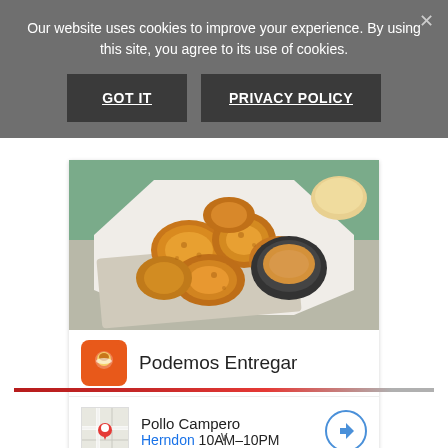Our website uses cookies to improve your experience. By using this site, you agree to its use of cookies.
GOT IT
PRIVACY POLICY
[Figure (photo): Photo of fried chicken pieces on a white octagonal plate with a small black bowl of dipping sauce, placed on a grey cloth napkin with green background]
Podemos Entregar
Pollo Campero
Herndon 10AM–10PM